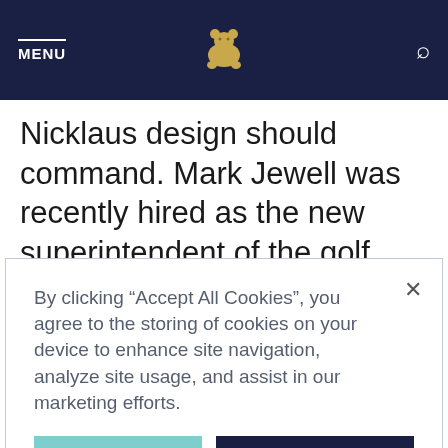MENU [bear logo] [search icon]
Nicklaus design should command. Mark Jewell was recently hired as the new superintendent of the golf course.
By clicking “Accept All Cookies”, you agree to the storing of cookies on your device to enhance site navigation, analyze site usage, and assist in our marketing efforts.
Cookies Settings | Accept All Cookies